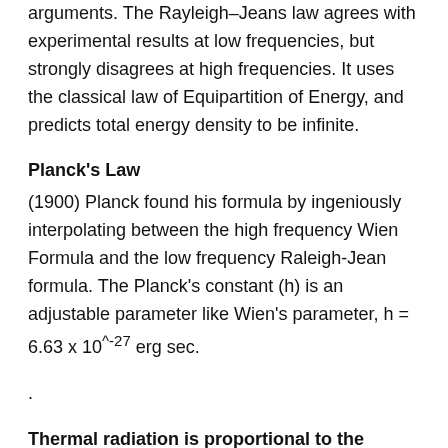arguments. The Rayleigh–Jeans law agrees with experimental results at low frequencies, but strongly disagrees at high frequencies. It uses the classical law of Equipartition of Energy, and predicts total energy density to be infinite.
Planck's Law
(1900) Planck found his formula by ingeniously interpolating between the high frequency Wien Formula and the low frequency Raleigh-Jean formula. The Planck's constant (h) is an adjustable parameter like Wien's parameter, h = 6.63 x 10^-27 erg sec.
.
Thermal radiation is proportional to the product of "# modes per unit frequency per